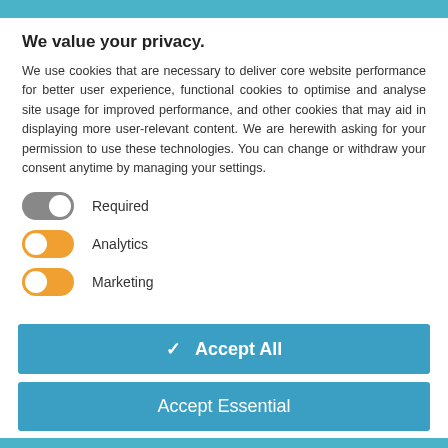We value your privacy.
We use cookies that are necessary to deliver core website performance for better user experience, functional cookies to optimise and analyse site usage for improved performance, and other cookies that may aid in displaying more user-relevant content. We are herewith asking for your permission to use these technologies. You can change or withdraw your consent anytime by managing your settings.
Required (toggle on, gray)
Analytics (toggle on, orange)
Marketing (toggle on, orange)
✓ Accept All
Accept Essential
manage settings | cookies
powered by